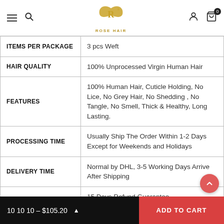Rose Hair — Navigation bar with hamburger menu, search, logo, user icon, cart (0)
|  |  |
| --- | --- |
| ITEMS PER PACKAGE | 3 pcs Weft |
| HAIR QUALITY | 100% Unprocessed Virgin Human Hair |
| FEATURES | 100% Human Hair, Cuticle Holding, No Lice, No Grey Hair, No Shedding , No Tangle, No Smell, Thick & Healthy, Long Lasting. |
| PROCESSING TIME | Usually Ship The Order Within 1-2 Days Except for Weekends and Holidays |
| DELIVERY TIME | Normal by DHL, 3-5 Working Days Arrive After Shipping |
|  | 15 Days Refund Guarantee |
10 10 10 – $105.20  ADD TO CART